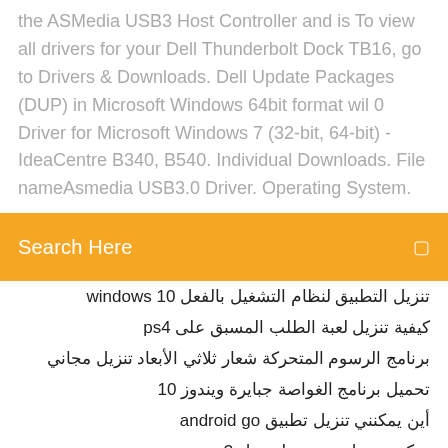the ASMedia USB3 Host Controller and is To view all drivers for your Dell Thunderbolt Dock TB16, go to Drivers & Downloads. Dell Update Packages (DUP) in Microsoft Windows 64bit format wil 0 Driver for Microsoft Windows 7 (32-bit, 64-bit) - IdeaCentre B340, B540. Individual Downloads. File nameAsmedia USB3.0 Driver. Operating System.
[Figure (screenshot): Orange search bar with text 'Search Here' and a small square icon on the right]
تنزيل التطبيق لنظام التشغيل بالفعل windows 10
كيفية تنزيل لعبة الطلب المسبق على ps4
برنامج الرسوم المتحركة شعار ثلاثي الأبعاد تنزيل مجاني
تحميل برنامج الغواصة جبايرة ويندوز 10
أين يمكنني تنزيل تطبيق android go
يمكن تحميل يوتيوب لتحويل mp3
عند إقفاله ps4 سيستمر تنزيل
إعادة التنزيل ± mediafä Minecraft pe 0.11.1
تحميل مجاني pdf بيت الحرير
أين يمكنني أن أجد canon epp android download